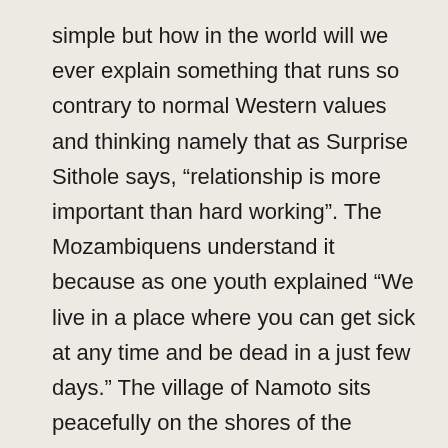simple but how in the world will we ever explain something that runs so contrary to normal Western values and thinking namely that as Surprise Sithole says, “relationship is more important than hard working”. The Mozambiquens understand it because as one youth explained “We live in a place where you can get sick at any time and be dead in a just few days.” The village of Namoto sits peacefully on the shores of the Ruvuma river about four kilometers from the Tanzania border. “Namoto” actually means fire and was the site for one of our “Bush Bush” outreaches.